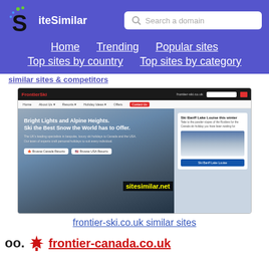SiteSimilar — Search a domain — Home Trending Popular sites Top sites by country Top sites by category
[Figure (screenshot): Screenshot of frontier-ski.co.uk showing skiing website with 'Bright Lights and Alpine Heights. Ski the Best Snow the World has to Offer.' headline, sitesimilar.net watermark, and Ski Banff Lake Louise panel]
frontier-ski.co.uk similar sites
oo. frontier-canada.co.uk